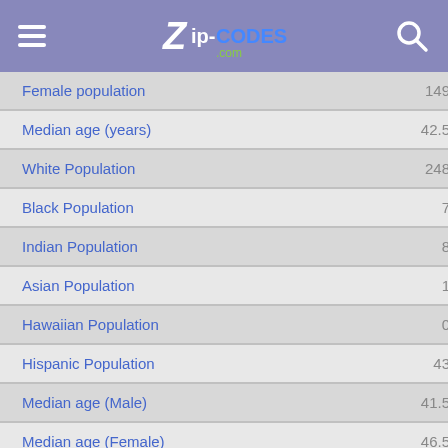Zip-Codes.com
| Category | Value |
| --- | --- |
| Female population | 149 |
| Median age (years) | 42.5 |
| White Population | 248 |
| Black Population | 7 |
| Indian Population | 8 |
| Asian Population | 1 |
| Hawaiian Population | 0 |
| Hispanic Population | 43 |
| Median age (Male) | 41.5 |
| Median age (Female) | 46.5 |
| Total households | 131 |
| Family households (families) | 78 |